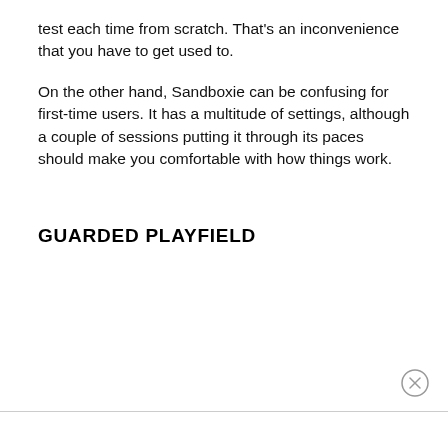test each time from scratch. That's an inconvenience that you have to get used to.
On the other hand, Sandboxie can be confusing for first-time users. It has a multitude of settings, although a couple of sessions putting it through its paces should make you comfortable with how things work.
GUARDED PLAYFIELD